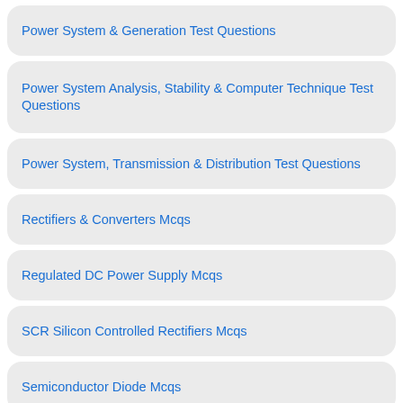Power System & Generation Test Questions
Power System Analysis, Stability & Computer Technique Test Questions
Power System, Transmission & Distribution Test Questions
Rectifiers & Converters Mcqs
Regulated DC Power Supply Mcqs
SCR Silicon Controlled Rectifiers Mcqs
Semiconductor Diode Mcqs
Semiconductor Theory Mcqs
Series parallel Circuits Mcqs
Single Phase Induction Motors Mcqs